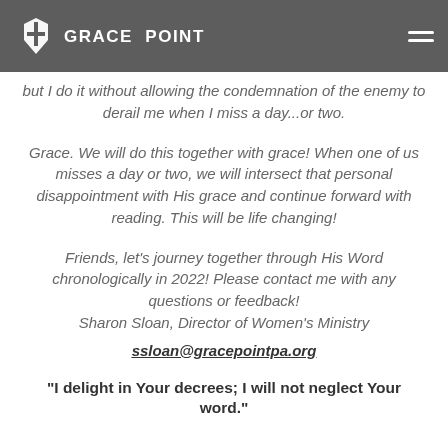Grace Point — header with logo and navigation
changed my life, my mind and my heart. So much so that I have done it almost every year since. I don't do it perfectly, but I do it without allowing the condemnation of the enemy to derail me when I miss a day...or two.
Grace. We will do this together with grace! When one of us misses a day or two, we will intersect that personal disappointment with His grace and continue forward with reading. This will be life changing!
Friends, let's journey together through His Word chronologically in 2022! Please contact me with any questions or feedback!
Sharon Sloan, Director of Women's Ministry
ssloan@gracepointpa.org
"I delight in Your decrees; I will not neglect Your word."